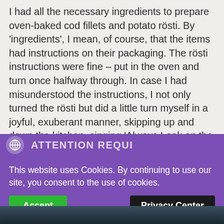I had all the necessary ingredients to prepare oven-baked cod fillets and potato rösti. By 'ingredients', I mean, of course, that the items had instructions on their packaging. The rösti instructions were fine – put in the oven and turn once halfway through. In case I had misunderstood the instructions, I not only turned the rösti but did a little turn myself in a joyful, exuberant manner, skipping up and down the kitchen, singing 'Always Look on the Bright Side of Life' (mainly because my efforts hadn't yet activated the
[Figure (screenshot): Cookie consent banner overlay with purple background. Header bar shows a globe/phone icon on the left and 'ATTENTION REQUI...' text on the right in light purple. Below is the cookie notice text and two buttons: green 'Accept' button on left, dark 'Privacy Center' button on right. At the bottom is a partial photo strip showing what appears to be food.]